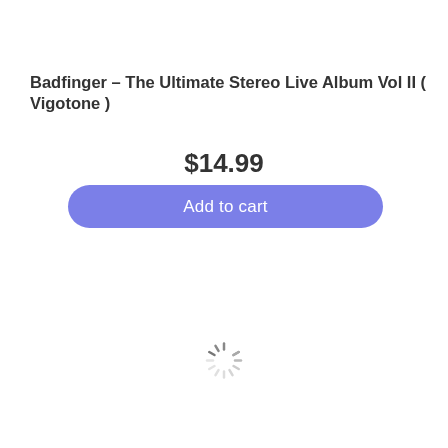Badfinger – The Ultimate Stereo Live Album Vol II ( Vigotone )
$14.99
[Figure (screenshot): Add to cart button with purple/periwinkle rounded rectangle background and white text reading 'Add to cart']
[Figure (other): Loading spinner graphic — circular arrangement of short line segments in gray, indicating content loading]